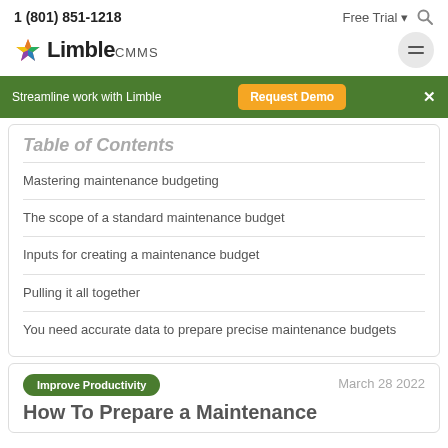1 (801) 851-1218   Free Trial   [search icon]
[Figure (logo): Limble CMMS logo with colorful star/puzzle icon and hamburger menu button]
Streamline work with Limble   Request Demo   ×
Table of Contents
Mastering maintenance budgeting
The scope of a standard maintenance budget
Inputs for creating a maintenance budget
Pulling it all together
You need accurate data to prepare precise maintenance budgets
Improve Productivity
March 28 2022
How To Prepare a Maintenance